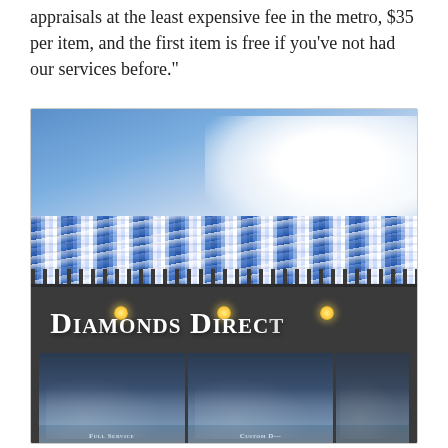appraisals at the least expensive fee in the metro, $35 per item, and the first item is free if you've not had our services before."
[Figure (photo): Exterior photo of Diamonds Direct jewelry store building, shot from below looking up. The building has a distinctive sparkling mosaic/tile facade band near the roofline with blue, white and silver tiles. Below is a dark grey storefront with the 'Diamonds Direct' name in large white serif/small-caps lettering. The storefront has large glass windows/doors reflecting clouds. At the bottom partial text reads 'Full Service' and 'Custom D...' Text is cut off at right edge.]